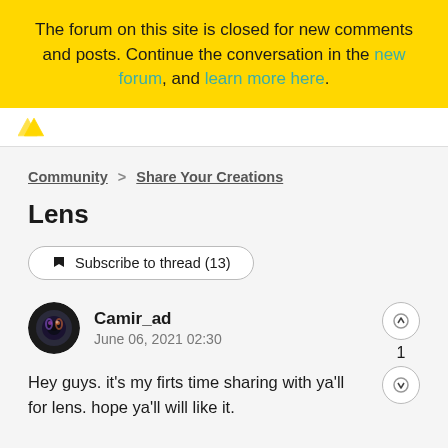The forum on this site is closed for new comments and posts. Continue the conversation in the new forum, and learn more here.
Community > Share Your Creations
Lens
Subscribe to thread (13)
Camir_ad
June 06, 2021 02:30
Hey guys. it's my firts time sharing with ya'll for lens. hope ya'll will like it.